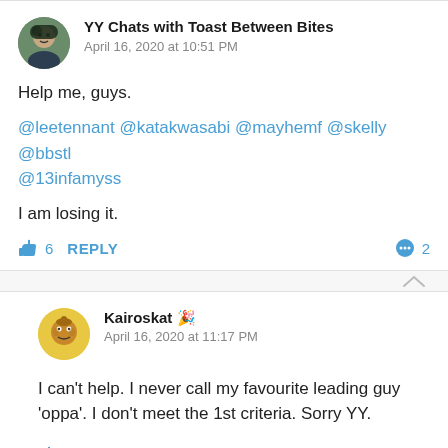YY Chats with Toast Between Bites
April 16, 2020 at 10:51 PM
Help me, guys.
@leetennant @katakwasabi @mayhemf @skelly @bbstl @13infamyss
I am losing it.
👍 6  REPLY   💬 2
Kairoskat 🎉
April 16, 2020 at 11:17 PM
I can't help. I never call my favourite leading guy 'oppa'. I don't meet the 1st criteria. Sorry YY.
👍 7  REPLY